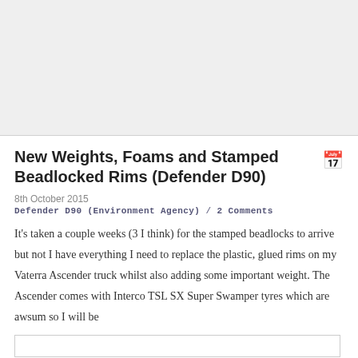[Figure (other): Advertisement / banner area at top of page, light gray background]
New Weights, Foams and Stamped Beadlocked Rims (Defender D90)
8th October 2015
Defender D90 (Environment Agency) / 2 Comments
It's taken a couple weeks (3 I think) for the stamped beadlocks to arrive but not I have everything I need to replace the plastic, glued rims on my Vaterra Ascender truck whilst also adding some important weight. The Ascender comes with Interco TSL SX Super Swamper tyres which are awsum so I will be
[Figure (photo): Image placeholder at bottom of content area]